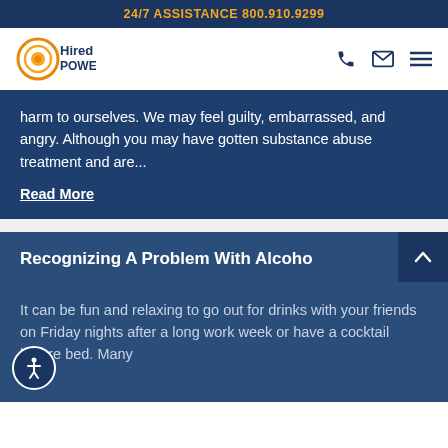24/7 ASSISTANCE 800.910.9299
[Figure (logo): Hired Power logo with circular orange/gold icon and dark blue text]
harm to ourselves. We may feel guilty, embarrassed, and angry. Although you may have gotten substance abuse treatment and are...
Read More
Recognizing A Problem With Alcoho
It can be fun and relaxing to go out for drinks with your friends on Friday nights after a long work week or have a cocktail before bed. Many